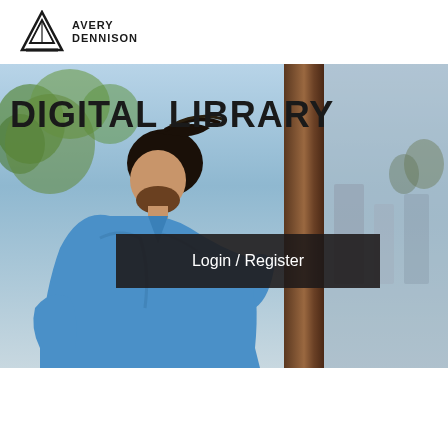[Figure (logo): Avery Dennison logo with triangular/hexagonal geometric mark and bold text AVERY DENNISON]
[Figure (photo): Hero image showing a man in a blue shirt leaning forward in a dynamic pose, with a blurred outdoor background (trees, building), a dark wooden pillar visible in the center-right area. Overlaid title text DIGITAL LIBRARY and a dark Login / Register button.]
DIGITAL LIBRARY
Login / Register